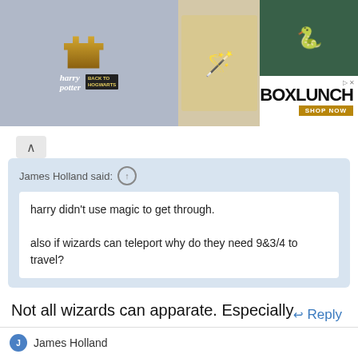[Figure (screenshot): BoxLunch advertisement banner featuring Harry Potter/Wizarding World merchandise including robes and Slytherin apparel, with BoxLunch logo and 'SHOP NOW' button]
James Holland said: ↑
harry didn't use magic to get through.

also if wizards can teleport why do they need 9&3/4 to travel?
Not all wizards can apparate. Especially children who haven't been to wizard school at all yet. The train is a portal to the school, allowing students to pass the wards without further filtering.
↩ Reply
James Holland